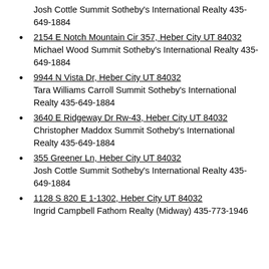Josh Cottle Summit Sotheby's International Realty 435-649-1884
2154 E Notch Mountain Cir 357, Heber City UT 84032
Michael Wood Summit Sotheby's International Realty 435-649-1884
9944 N Vista Dr, Heber City UT 84032
Tara Williams Carroll Summit Sotheby's International Realty 435-649-1884
3640 E Ridgeway Dr Rw-43, Heber City UT 84032
Christopher Maddox Summit Sotheby's International Realty 435-649-1884
355 Greener Ln, Heber City UT 84032
Josh Cottle Summit Sotheby's International Realty 435-649-1884
1128 S 820 E 1-1302, Heber City UT 84032
Ingrid Campbell Fathom Realty (Midway) 435-773-1946